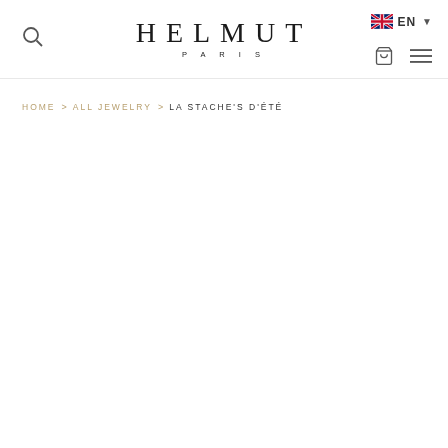HELMUT PARIS
HOME > ALL JEWELRY > LA STACHE'S D'ÉTÉ